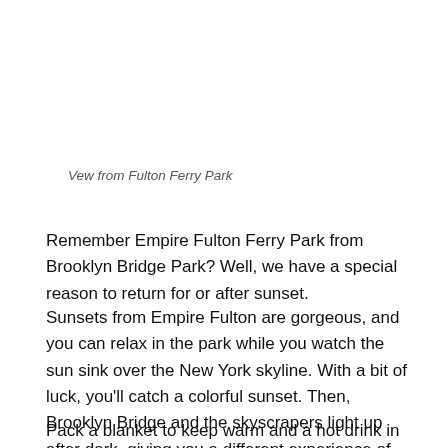Vew from Fulton Ferry Park
Remember Empire Fulton Ferry Park from Brooklyn Bridge Park? Well, we have a special reason to return for or after sunset.
Sunsets from Empire Fulton are gorgeous, and you can relax in the park while you watch the sun sink over the New York skyline. With a bit of luck, you'll catch a colorful sunset. Then, Brooklyn Bridge and the skyscrapers light up after dark, giving you a different experience of the cityscape again.
Pack a blanket to keep warm and a hot drink in colder months. You